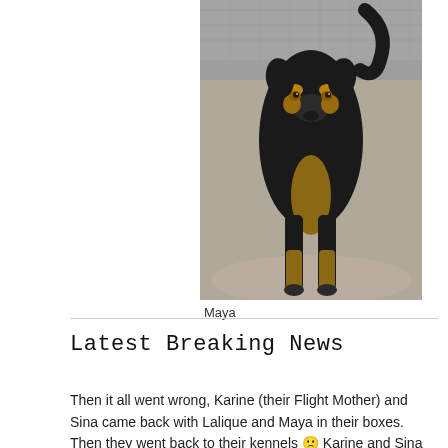[Figure (photo): Black and tan dog (Maya) standing on gravel ground, looking directly at camera, with chain-link fence in background]
Maya
Latest Breaking News
Then it all went wrong, Karine (their Flight Mother) and Sina came back with Lalique and Maya in their boxes. Then they went back to their kennels 😕 Karine and Sina told us that the things all...